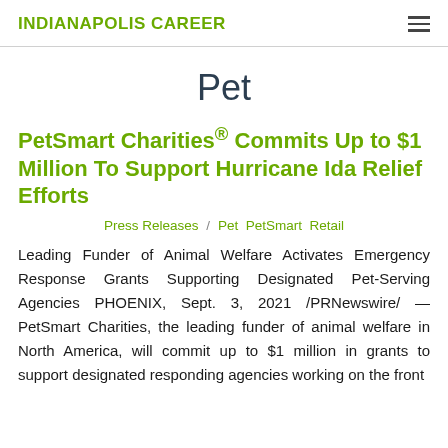INDIANAPOLIS CAREER
Pet
PetSmart Charities® Commits Up to $1 Million To Support Hurricane Ida Relief Efforts
Press Releases / Pet  PetSmart  Retail
Leading Funder of Animal Welfare Activates Emergency Response Grants Supporting Designated Pet-Serving Agencies PHOENIX, Sept. 3, 2021 /PRNewswire/ — PetSmart Charities, the leading funder of animal welfare in North America, will commit up to $1 million in grants to support designated responding agencies working on the front